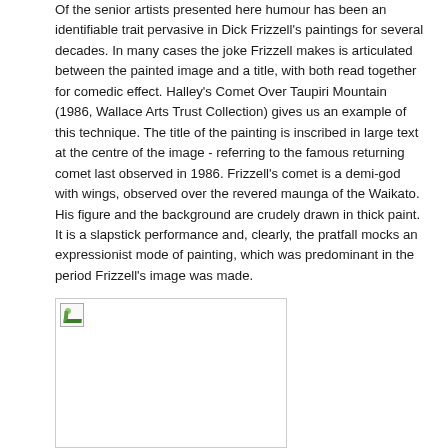Of the senior artists presented here humour has been an identifiable trait pervasive in Dick Frizzell's paintings for several decades. In many cases the joke Frizzell makes is articulated between the painted image and a title, with both read together for comedic effect. Halley's Comet Over Taupiri Mountain (1986, Wallace Arts Trust Collection) gives us an example of this technique. The title of the painting is inscribed in large text at the centre of the image - referring to the famous returning comet last observed in 1986. Frizzell's comet is a demi-god with wings, observed over the revered maunga of the Waikato. His figure and the background are crudely drawn in thick paint. It is a slapstick performance and, clearly, the pratfall mocks an expressionist mode of painting, which was predominant in the period Frizzell's image was made.
[Figure (photo): A broken/missing image placeholder with small icon in top-left corner, shown as an empty white rectangle with border]